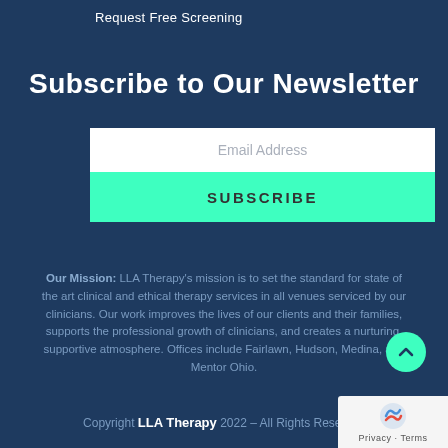Request Free Screening
Subscribe to Our Newsletter
[Figure (screenshot): Email address input field (white rectangle) with placeholder text 'Email Address' centered in gray]
[Figure (screenshot): Green SUBSCRIBE button with dark letter-spaced label 'SUBSCRIBE']
Our Mission: LLA Therapy's mission is to set the standard for state of the art clinical and ethical therapy services in all venues serviced by our clinicians. Our work improves the lives of our clients and their families, supports the professional growth of clinicians, and creates a nurturing, supportive atmosphere. Offices include Fairlawn, Hudson, Medina, and Mentor Ohio.
Copyright LLA Therapy 2022 – All Rights Reserved